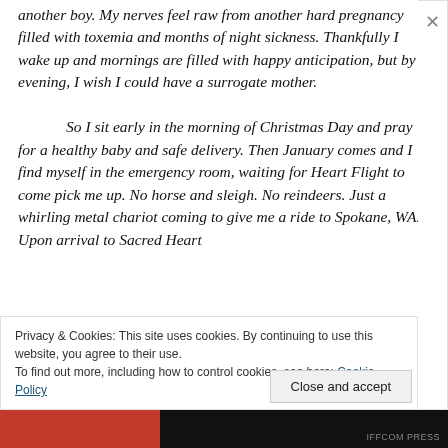another boy. My nerves feel raw from another hard pregnancy filled with toxemia and months of night sickness. Thankfully I wake up and mornings are filled with happy anticipation, but by evening, I wish I could have a surrogate mother.

So I sit early in the morning of Christmas Day and pray for a healthy baby and safe delivery. Then January comes and I find myself in the emergency room, waiting for Heart Flight to come pick me up. No horse and sleigh. No reindeers. Just a whirling metal chariot coming to give me a ride to Spokane, WA. Upon arrival to Sacred Heart
Privacy & Cookies: This site uses cookies. By continuing to use this website, you agree to their use.
To find out more, including how to control cookies, see here: Cookie Policy
Close and accept